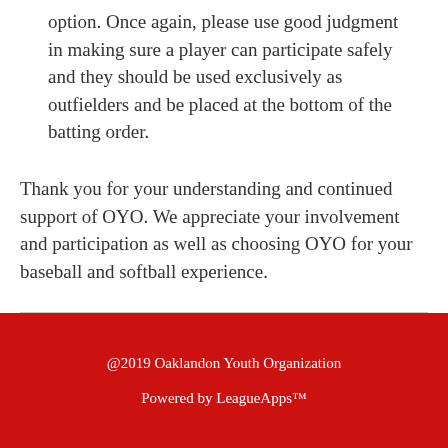option. Once again, please use good judgment in making sure a player can participate safely and they should be used exclusively as outfielders and be placed at the bottom of the batting order.
Thank you for your understanding and continued support of OYO. We appreciate your involvement and participation as well as choosing OYO for your baseball and softball experience.
@2019 Oaklandon Youth Organization
Powered by LeagueApps™